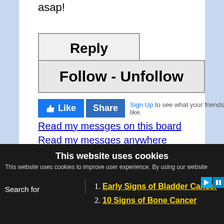asap!
Reply
Follow - Unfollow
[Figure (screenshot): Facebook Like and Share buttons with 'Sign Up to see what your friends like.' text]
Read my messges on this board
Read my messges anywhere
This website uses cookies
This website uses cookies to improve user experience. By using our website
Search for
Early Signs of Bladder Cancer
10 Signs of Bone Cancer